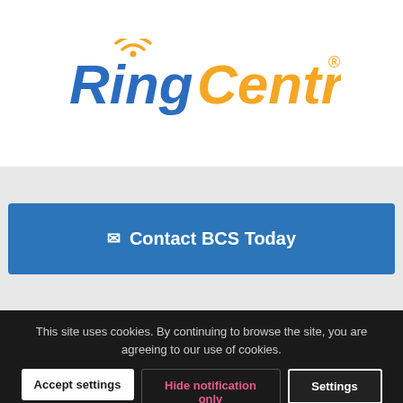[Figure (logo): RingCentral logo with 'Ring' in blue italic bold text and 'Central' in orange italic bold text, with orange wifi signal arcs above the 'i' in Ring, and a registered trademark symbol after Central]
✉ Contact BCS Today
This site uses cookies. By continuing to browse the site, you are agreeing to our use of cookies.
Accept settings
Hide notification only
Settings